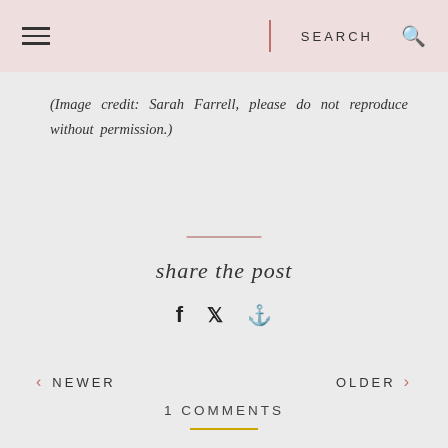SEARCH
(Image credit: Sarah Farrell, please do not reproduce without permission.)
share the post
‹ NEWER    OLDER ›
1 COMMENTS